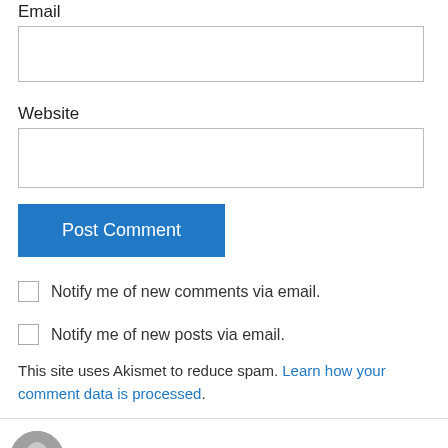Email
Website
Post Comment
Notify me of new comments via email.
Notify me of new posts via email.
This site uses Akismet to reduce spam. Learn how your comment data is processed.
Catherine Mullaney on January 14, 2015 at 4:51 pm